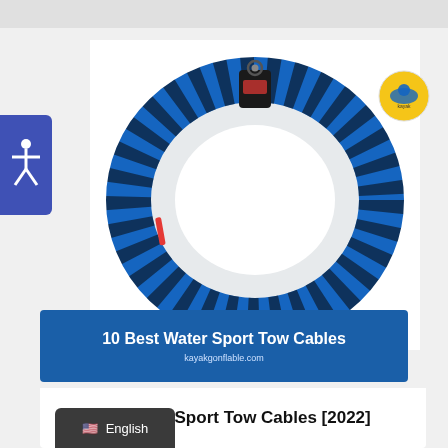[Figure (photo): A coiled blue and black water sport tow rope/cable displayed in a donut shape with a black hanging tag at the top, on a white background. A small red accent is visible on the rope.]
[Figure (logo): Small circular site logo in the top right corner of the page, on a yellow/orange background with a blue icon.]
10 Best Water Sport Tow Cables
kayakgonflable.com
10 Best Water Sport Tow Cables [2022]
English